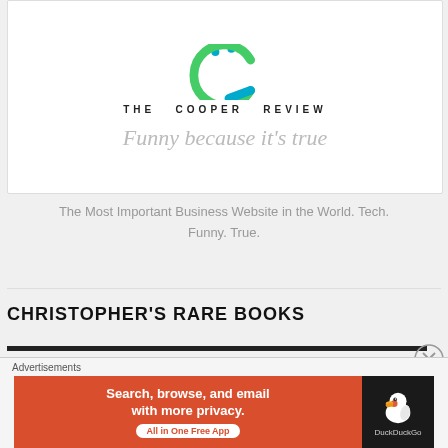[Figure (logo): The Cooper Review logo: a green/teal smiley face C with teal dots for eyes and a green curved smile, followed by brand name THE COOPER REVIEW and tagline 'Funny because it's true']
The Most Important Business Website in the World. Tech. Funny. True.
CHRISTOPHER'S RARE BOOKS
[Figure (screenshot): DuckDuckGo advertisement banner: orange left side with text 'Search, browse, and email with more privacy. All in One Free App' and dark right side with DuckDuckGo duck logo]